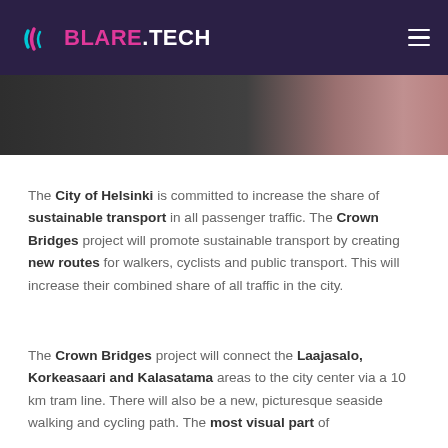BLARE.TECH
[Figure (photo): A partial photograph showing a dark road/street scene on the left and what appears to be a tram or vehicle edge on the right with pink/salmon tones.]
The City of Helsinki is committed to increase the share of sustainable transport in all passenger traffic. The Crown Bridges project will promote sustainable transport by creating new routes for walkers, cyclists and public transport. This will increase their combined share of all traffic in the city.
The Crown Bridges project will connect the Laajasalo, Korkeasaari and Kalasatama areas to the city center via a 10 km tram line. There will also be a new, picturesque seaside walking and cycling path. The most visual part of